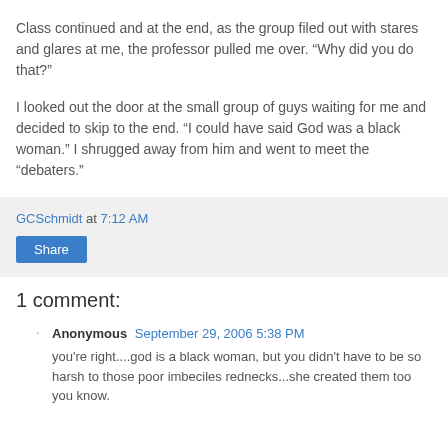Class continued and at the end, as the group filed out with stares and glares at me, the professor pulled me over. “Why did you do that?”
I looked out the door at the small group of guys waiting for me and decided to skip to the end. “I could have said God was a black woman.” I shrugged away from him and went to meet the “debaters.”
GCSchmidt at 7:12 AM
Share
1 comment:
Anonymous  September 29, 2006 5:38 PM
you're right....god is a black woman, but you didn't have to be so harsh to those poor imbeciles rednecks...she created them too you know.